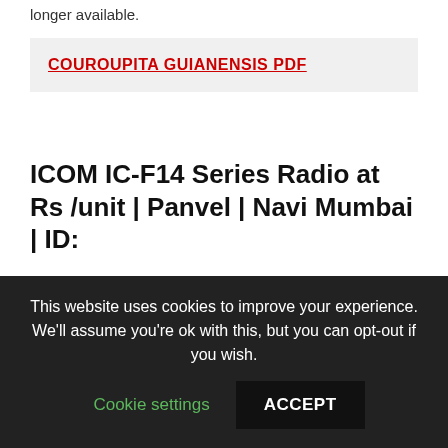longer available.
COUROUPITA GUIANENSIS PDF
ICOM IC-F14 Series Radio at Rs /unit | Panvel | Navi Mumbai | ID:
JavaScript seems to be disabled in your browser. If you already have some radios and you would like your new radios programmed the work together, please select technically assigned, and email us your ofcom licence details to sales radiotronics.
This website uses cookies to improve your experience. We'll assume you're ok with this, but you can opt-out if you wish.
Cookie settings
ACCEPT